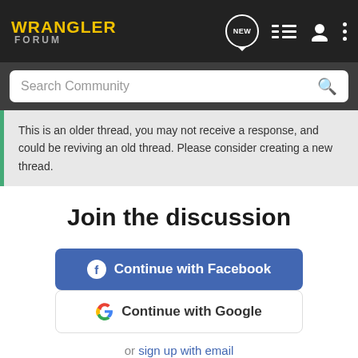WRANGLER FORUM
Search Community
This is an older thread, you may not receive a response, and could be reviving an old thread. Please consider creating a new thread.
Join the discussion
Continue with Facebook
Continue with Google
or sign up with email
[Figure (photo): Advertisement banner for Nitto All-New Nomad Grappler Crossover-Terrain Tire with tire image and vehicle]